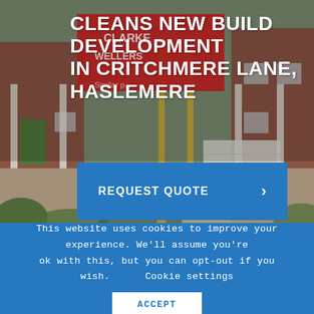[Figure (photo): Photograph of a new build residential development showing brick houses, a white garage door, green plants/shrubs, and a real estate agency sign board for Clarke Wellers in red. Background serves as hero image for the page.]
CLEANS NEW BUILD DEVELOPMENT IN CRITCHMERE LANE, HASLEMERE
REQUEST QUOTE ›
This website uses cookies to improve your experience. We'll assume you're ok with this, but you can opt-out if you wish.      Cookie settings
ACCEPT